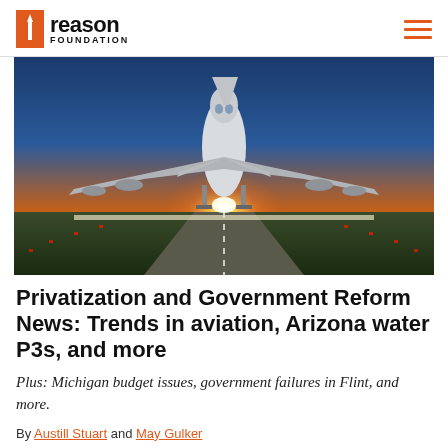reason FOUNDATION
[Figure (photo): Large commercial airplane photographed from below/front as it takes off from a runway at sunset/dusk, with orange and blue sky in the background and runway lights visible below.]
Privatization and Government Reform News: Trends in aviation, Arizona water P3s, and more
Plus: Michigan budget issues, government failures in Flint, and more.
By Austill Stuart and May Gulker